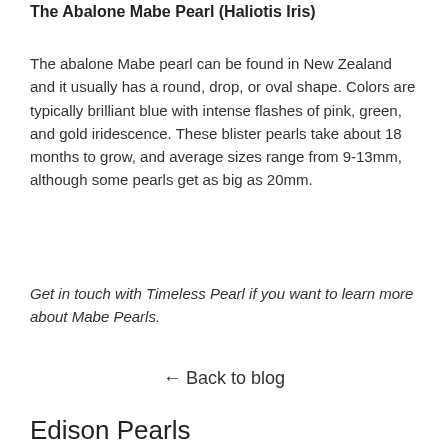The Abalone Mabe Pearl (Haliotis Iris)
The abalone Mabe pearl can be found in New Zealand and it usually has a round, drop, or oval shape. Colors are typically brilliant blue with intense flashes of pink, green, and gold iridescence. These blister pearls take about 18 months to grow, and average sizes range from 9-13mm, although some pearls get as big as 20mm.
Get in touch with Timeless Pearl if you want to learn more about Mabe Pearls.
← Back to blog
Edison Pearls